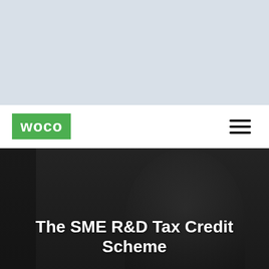[Figure (photo): Light blue-grey banner area at top of page, blank/empty]
[Figure (logo): WOCO logo — white bold text on green rectangle background]
[Figure (other): Hamburger menu icon — three horizontal dark bars on white background]
[Figure (photo): Dark photographic background showing a blurred person in a dark setting]
The SME R&D Tax Credit Scheme